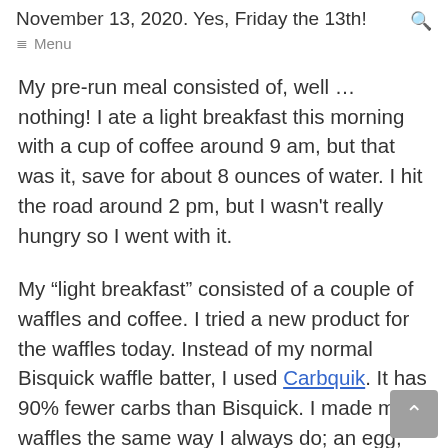November 13, 2020. Yes, Friday the 13th!
My pre-run meal consisted of, well … nothing! I ate a light breakfast this morning with a cup of coffee around 9 am, but that was it, save for about 8 ounces of water. I hit the road around 2 pm, but I wasn't really hungry so I went with it.
My "light breakfast" consisted of a couple of waffles and coffee. I tried a new product for the waffles today. Instead of my normal Bisquick waffle batter, I used Carbquik. It has 90% fewer carbs than Bisquick. I made my waffles the same way I always do; an egg,